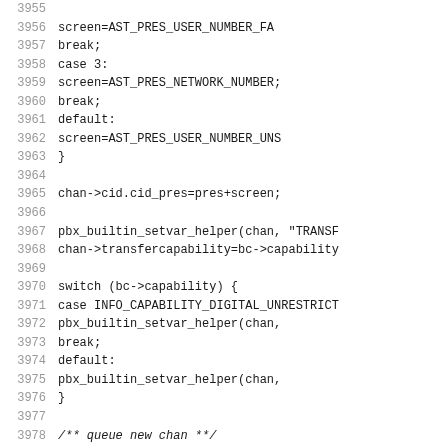[Figure (other): Source code listing showing C code lines 3955-3987, with line numbers on the left and code on the right. The code includes switch statements, function calls like pbx_builtin_setvar_helper and cl_queue_chan, and an if statement with strstr.]